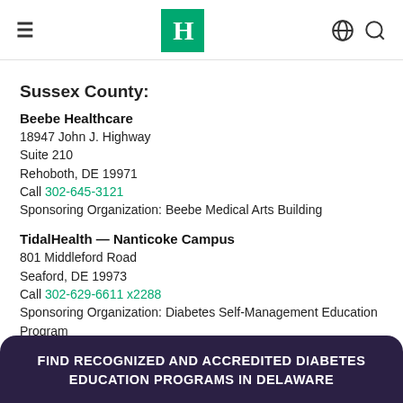≡  [Logo: H]  🌐 🔍
Sussex County:
Beebe Healthcare
18947 John J. Highway
Suite 210
Rehoboth, DE 19971
Call 302-645-3121
Sponsoring Organization: Beebe Medical Arts Building
TidalHealth — Nanticoke Campus
801 Middleford Road
Seaford, DE 19973
Call 302-629-6611 x2288
Sponsoring Organization: Diabetes Self-Management Education Program
FIND RECOGNIZED AND ACCREDITED DIABETES EDUCATION PROGRAMS IN DELAWARE